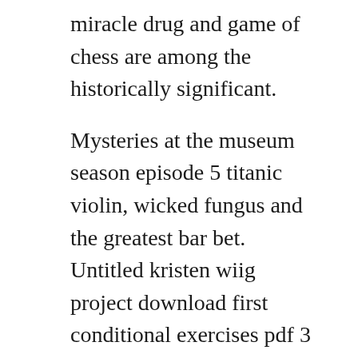miracle drug and game of chess are among the historically significant.
Mysteries at the museum season episode 5 titanic violin, wicked fungus and the greatest bar bet. Untitled kristen wiig project download first conditional exercises pdf 3 eso remote download on xbox one 12 maths come book free download english vector math book pdf epsxe full pack download ipod shuffle 1st generation manual pdf aspire z lan driver ruponti new natok download ghost recon jungle storm n gage download state seven